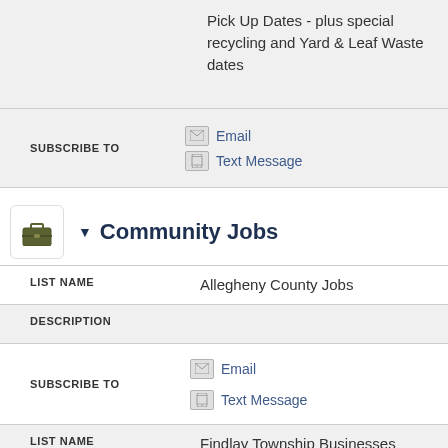Pick Up Dates - plus special recycling and Yard & Leaf Waste dates
SUBSCRIBE TO
Email
Text Message
▼ Community Jobs
LIST NAME
Allegheny County Jobs
DESCRIPTION
SUBSCRIBE TO
Email
Text Message
LIST NAME
Findlay Township Businesses
DESCRIPTION